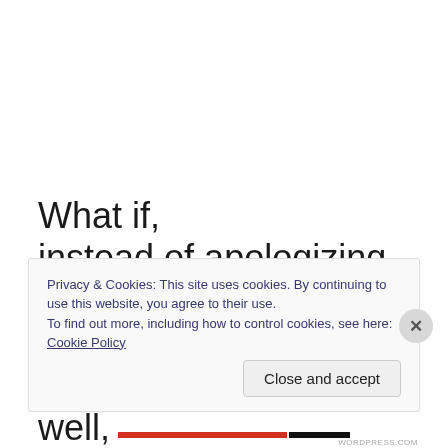What if,
instead of apologizing
for things
we don't
do
well,
or for things
Privacy & Cookies: This site uses cookies. By continuing to use this website, you agree to their use.
To find out more, including how to control cookies, see here: Cookie Policy